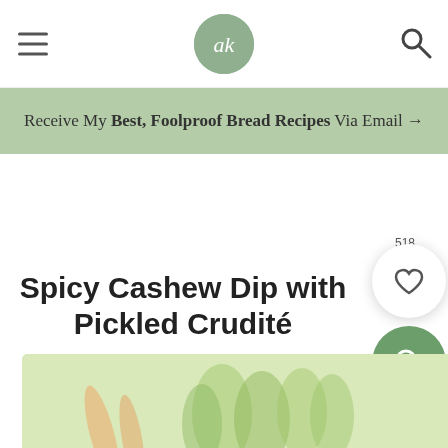Ambitious Kitchen website header with hamburger menu, logo (ak), and search icon
Receive My Best, Foolproof Bread Recipes Via Email →
Spicy Cashew Dip with Pickled Crudité
[Figure (photo): Partial food photo at bottom showing colorful vegetables/crudités with green tones]